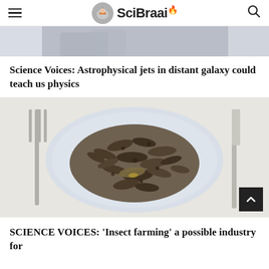SciBraai
[Figure (photo): Partial photo of a person, cropped at top of page]
Science Voices: Astrophysical jets in distant galaxy could teach us physics
[Figure (photo): Overhead photo of a light blue plate filled with mopane worms (dried caterpillars/insects) on a white tablecloth, with a fork on the left and a knife on the right]
SCIENCE VOICES: 'Insect farming' a possible industry for